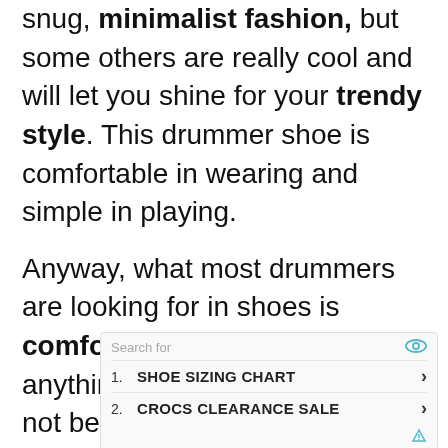snug, minimalist fashion, but some others are really cool and will let you shine for your trendy style. This drummer shoe is comfortable in wearing and simple in playing.
Anyway, what most drummers are looking for in shoes is comfortable. This is because anything less will mean you will not be playing to your best. Even a minor bad shoe feel can snatch your comfortable zone and you won't be able to perform at your best.
[Figure (other): Advertisement widget showing 'Search for' label with eye icon, two search result items: 1. SHOE SIZING CHART and 2. CROCS CLEARANCE SALE, each with a chevron arrow, and a small ad triangle icon at bottom right.]